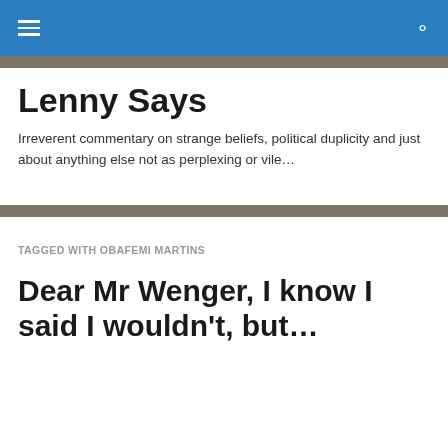Lenny Says
Irreverent commentary on strange beliefs, political duplicity and just about anything else not as perplexing or vile…
TAGGED WITH OBAFEMI MARTINS
Dear Mr Wenger, I know I said I wouldn't, but…